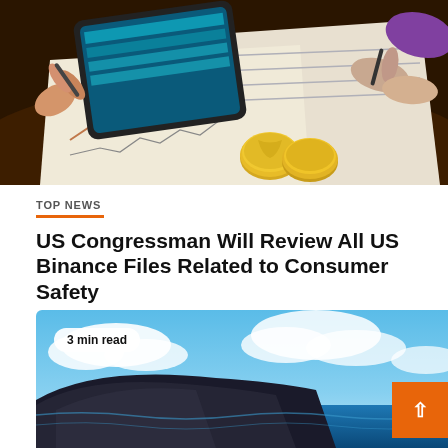[Figure (illustration): Illustration of hands using a tablet and writing on paper with charts, graphs, and gold coins on a desk — cryptocurrency/finance themed artwork]
TOP NEWS
US Congressman Will Review All US Binance Files Related to Consumer Safety
August 31, 2022   Halbert Gray
[Figure (photo): Photo of an airplane flying over tropical ocean with blue sky and clouds, with a '3 min read' badge overlay]